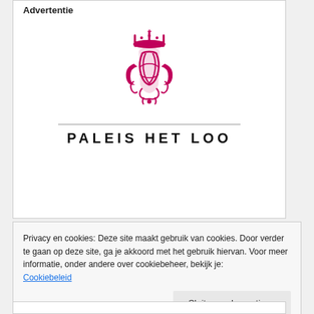Advertentie
[Figure (logo): Paleis Het Loo royal crest logo with crown and ornamental monogram, magenta/pink color, with horizontal divider line and bold uppercase text 'PALEIS HET LOO' below.]
Privacy en cookies: Deze site maakt gebruik van cookies. Door verder te gaan op deze site, ga je akkoord met het gebruik hiervan. Voor meer informatie, onder andere over cookiebeheer, bekijk je: Cookiebeleid
Sluiten en bevestigen